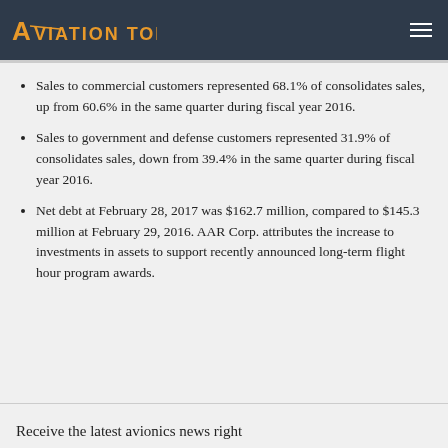AVIATION TODAY
Sales to commercial customers represented 68.1% of consolidates sales, up from 60.6% in the same quarter during fiscal year 2016.
Sales to government and defense customers represented 31.9% of consolidates sales, down from 39.4% in the same quarter during fiscal year 2016.
Net debt at February 28, 2017 was $162.7 million, compared to $145.3 million at February 29, 2016. AAR Corp. attributes the increase to investments in assets to support recently announced long-term flight hour program awards.
Receive the latest avionics news right